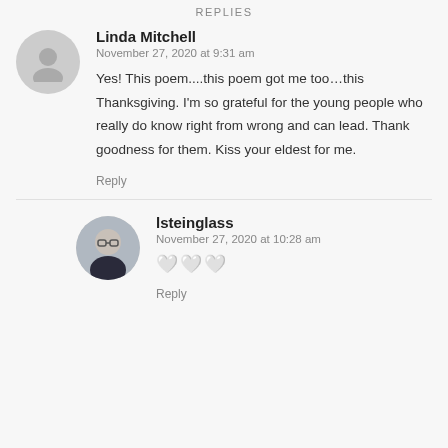REPLIES
Linda Mitchell
November 27, 2020 at 9:31 am
Yes! This poem....this poem got me too…this Thanksgiving. I'm so grateful for the young people who really do know right from wrong and can lead. Thank goodness for them. Kiss your eldest for me.
Reply
lsteinglass
November 27, 2020 at 10:28 am
🖤🖤🖤
Reply